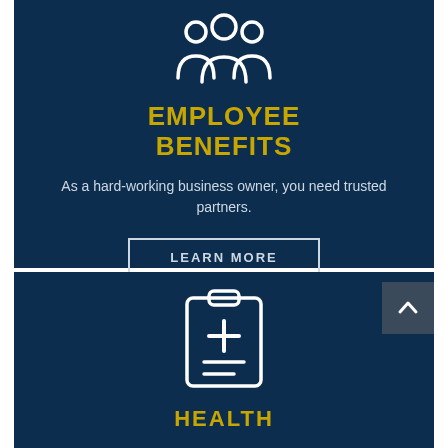[Figure (illustration): White outline icon of three people/group silhouette on dark navy background]
EMPLOYEE BENEFITS
As a hard-working business owner, you need trusted partners.
LEARN MORE
[Figure (illustration): White outline icon of a medical clipboard with a cross symbol on dark navy background]
HEALTH